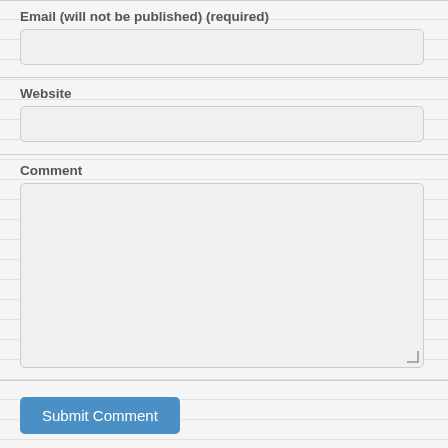Email (will not be published) (required)
[Figure (screenshot): Empty text input field for email]
Website
[Figure (screenshot): Empty text input field for website]
Comment
[Figure (screenshot): Large empty textarea for comment with resize handle]
Submit Comment